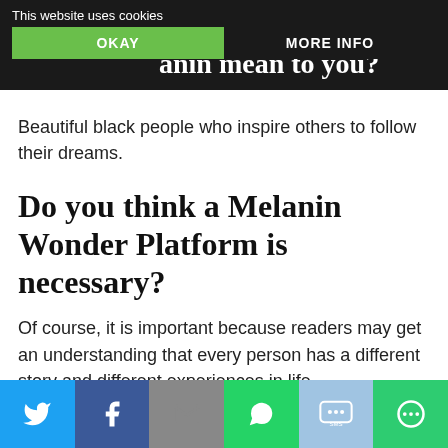This website uses cookies | OKAY | MORE INFO
Beautiful black people who inspire others to follow their dreams.
Do you think a Melanin Wonder Platform is necessary?
Of course, it is important because readers may get an understanding that every person has a different story and different experiences in life.
What is your favourite fashion trend or style at the moment?
Twitter | Facebook | Email | WhatsApp | SMS | More